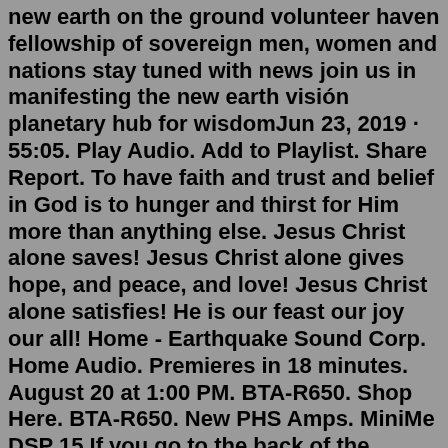new earth on the ground volunteer haven fellowship of sovereign men, women and nations stay tuned with news join us in manifesting the new earth visión planetary hub for wisdomJun 23, 2019 · 55:05. Play Audio. Add to Playlist. Share Report. To have faith and trust and belief in God is to hunger and thirst for Him more than anything else. Jesus Christ alone saves! Jesus Christ alone gives hope, and peace, and love! Jesus Christ alone satisfies! He is our feast our joy our all! Home - Earthquake Sound Corp. Home Audio. Premieres in 18 minutes. August 20 at 1:00 PM. BTA-R650. Shop Here. BTA-R650. New PHS Amps. MiniMe DSP 15.If you go to the back of the cigarette lighter there should be a power connector and there is going to be a ground wire and a power wire. If you ground to that wire, you're probably going to be ok. If you go into the left kick-panel of the car, you may even find a bundle of ground wires that are bolted directly to the chassis.With his bestselling spiritual guide The Power of Now, Eckhart Tolle inspired millions of readers to discover the freedom